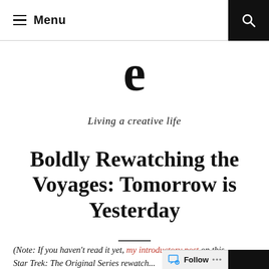≡ Menu  🔍
e
Living a creative life
Boldly Rewatching the Voyages: Tomorrow is Yesterday
(Note: If you haven't read it yet, my introductory post on this Star Trek: The Original Series rewatch…